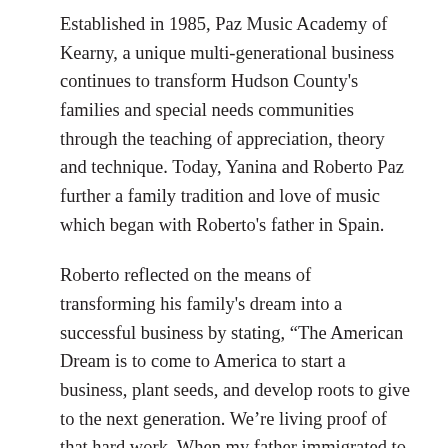Established in 1985, Paz Music Academy of Kearny, a unique multi-generational business continues to transform Hudson County's families and special needs communities through the teaching of appreciation, theory and technique. Today, Yanina and Roberto Paz further a family tradition and love of music which began with Roberto's father in Spain.
Roberto reflected on the means of transforming his family's dream into a successful business by stating, “The American Dream is to come to America to start a business, plant seeds, and develop roots to give to the next generation. We’re living proof of that hard work. When my father immigrated to Newark in 1969, he taught music from the basement of a local Church. “Now, as parents to 3 children, we are proud to be 2nd generation owners, and we are continuing to thrive thanks to Hudson County’s focus on diversity and support of small businesses.”
Hudson County Economic Development Corporation focuses